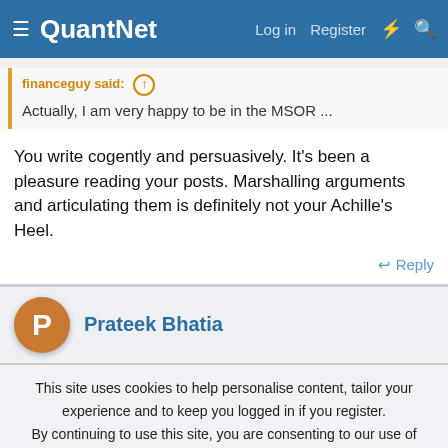QuantNet — Log in  Register
financeguy said: ↑
Actually, I am very happy to be in the MSOR ...
You write cogently and persuasively. It's been a pleasure reading your posts. Marshalling arguments and articulating them is definitely not your Achille's Heel.
↩ Reply
Prateek Bhatia
This site uses cookies to help personalise content, tailor your experience and to keep you logged in if you register.
By continuing to use this site, you are consenting to our use of cookies.
Accept  Learn more...